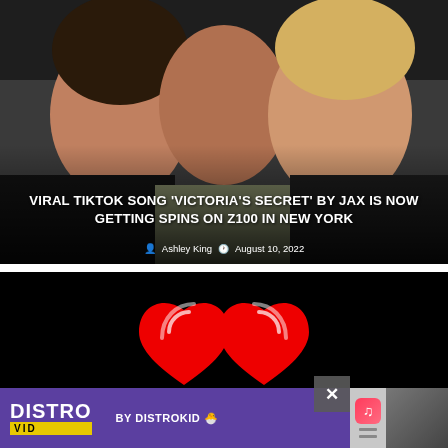[Figure (photo): Three people posing together for a selfie-style photo: a woman with dark hair on the left, a man in the center, and a blonde woman on the right. Dark background.]
VIRAL TIKTOK SONG 'VICTORIA'S SECRET' BY JAX IS NOW GETTING SPINS ON Z100 IN NEW YORK
Ashley King   August 10, 2022
[Figure (screenshot): Black background with iHeartRadio logo (red infinity-like overlapping circles) centered, and a DistroVid advertisement banner at the bottom reading 'DISTRO VID BY DISTROKID' with a purple background.]